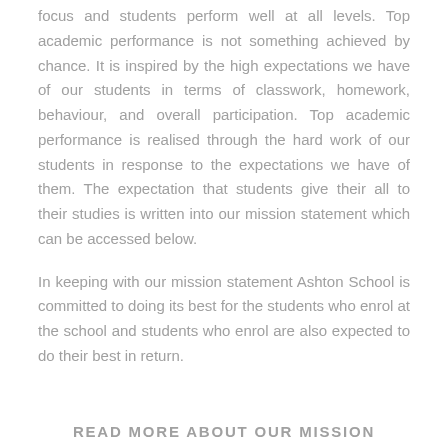focus and students perform well at all levels. Top academic performance is not something achieved by chance. It is inspired by the high expectations we have of our students in terms of classwork, homework, behaviour, and overall participation. Top academic performance is realised through the hard work of our students in response to the expectations we have of them. The expectation that students give their all to their studies is written into our mission statement which can be accessed below.
In keeping with our mission statement Ashton School is committed to doing its best for the students who enrol at the school and students who enrol are also expected to do their best in return.
READ MORE ABOUT OUR MISSION